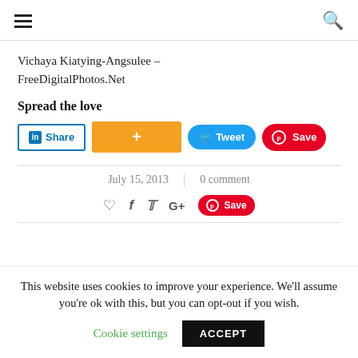≡ [hamburger menu] | [search icon]
Vichaya Kiatying-Angsulee – FreeDigitalPhotos.Net
Spread the love
[Figure (screenshot): Social share buttons: LinkedIn Share, + (orange), Tweet (blue), Save (Pinterest red)]
July 15, 2013 | 0 comment
[Figure (screenshot): Social icon row: heart, f (facebook), twitter bird, G+, Save (Pinterest red button)]
This website uses cookies to improve your experience. We'll assume you're ok with this, but you can opt-out if you wish.
Cookie settings  ACCEPT